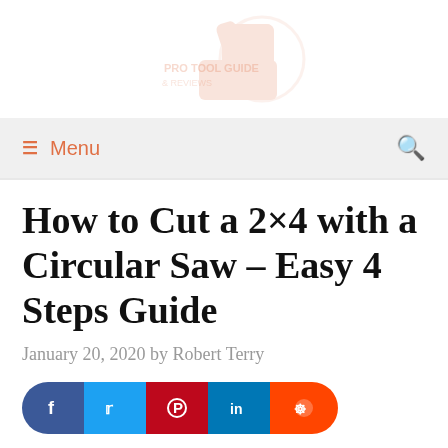[Figure (logo): Faint watermark-style website logo with thumbs-up icon and text]
≡ Menu  🔍
How to Cut a 2×4 with a Circular Saw – Easy 4 Steps Guide
January 20, 2020 by Robert Terry
[Figure (infographic): Social share buttons: Facebook, Twitter, Pinterest, LinkedIn, Reddit]